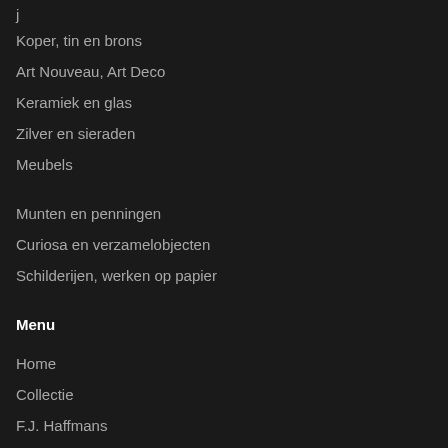Koper, tin en brons
Art Nouveau, Art Deco
Keramiek en glas
Zilver en sieraden
Meubels
Munten en penningen
Curiosa en verzamelobjecten
Schilderijen, werken op papier
Menu
Home
Collectie
F.J. Haffmans
Zakelijke gegevens
Route
Voorwaarden
Verzenden